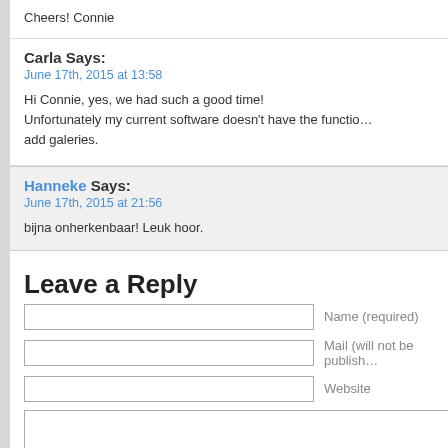Cheers! Connie
Carla Says:
June 17th, 2015 at 13:58

Hi Connie, yes, we had such a good time! Unfortunately my current software doesn't have the function to add galeries.
Hanneke Says:
June 17th, 2015 at 21:56

bijna onherkenbaar! Leuk hoor.
Leave a Reply
Name (required)
Mail (will not be published)
Website